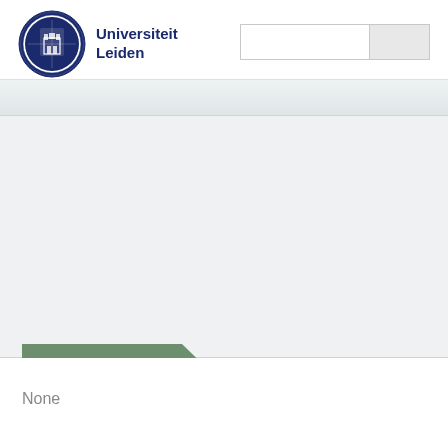[Figure (logo): Universiteit Leiden logo — circular seal with coat of arms in dark blue]
Universiteit Leiden
[Figure (other): Search input box with grey button on right side]
[Figure (other): Navigation banner / light grey horizontal bar]
[Figure (other): Large grey content area with a green arrow/chevron shape in the lower left]
None